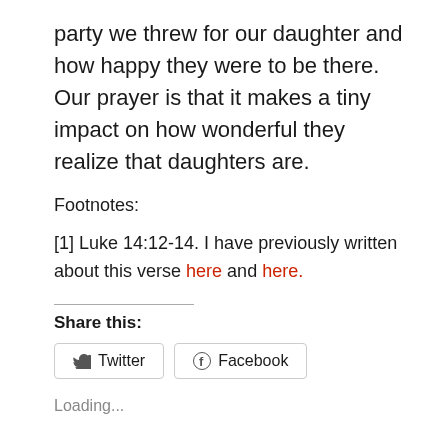party we threw for our daughter and how happy they were to be there. Our prayer is that it makes a tiny impact on how wonderful they realize that daughters are.
Footnotes:
[1] Luke 14:12-14. I have previously written about this verse here and here.
Share this:
[Figure (other): Twitter and Facebook share buttons]
Loading...